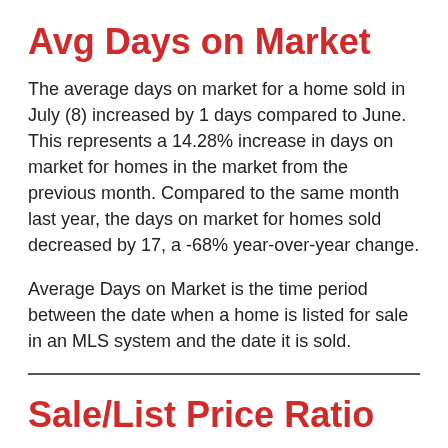Avg Days on Market
The average days on market for a home sold in July (8) increased by 1 days compared to June. This represents a 14.28% increase in days on market for homes in the market from the previous month. Compared to the same month last year, the days on market for homes sold decreased by 17, a -68% year-over-year change.
Average Days on Market is the time period between the date when a home is listed for sale in an MLS system and the date it is sold.
Sale/List Price Ratio